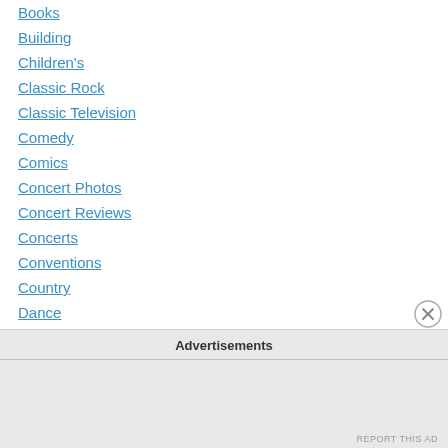Books
Building
Children's
Classic Rock
Classic Television
Comedy
Comics
Concert Photos
Concert Reviews
Concerts
Conventions
Country
Dance
Directors
Do-It-Yourself
Documentaries
Advertisements
REPORT THIS AD